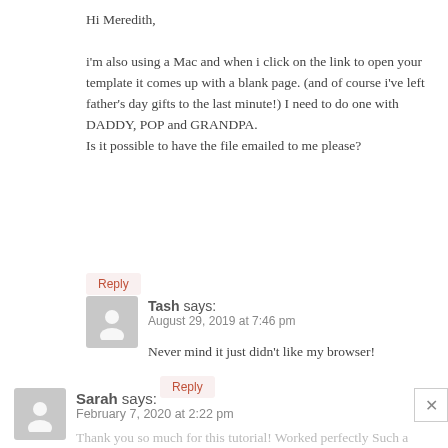Hi Meredith,

i'm also using a Mac and when i click on the link to open your template it comes up with a blank page. (and of course i've left father's day gifts to the last minute!) I need to do one with DADDY, POP and GRANDPA.
Is it possible to have the file emailed to me please?
Reply
Tash says:
August 29, 2019 at 7:46 pm
Never mind it just didn't like my browser!
Reply
Sarah says:
February 7, 2020 at 2:22 pm
Thank you so much for this tutorial! Worked perfectly Such a great idea!